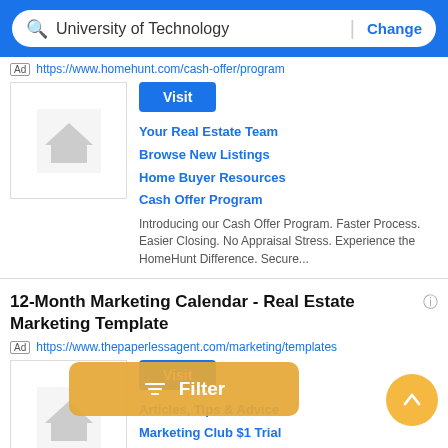University of Technology | Change
Ad https://www.homehunt.com/cash-offer/program
[Figure (other): Placeholder house image thumbnail for HomeHunt ad]
Visit
Your Real Estate Team
Browse New Listings
Home Buyer Resources
Cash Offer Program
Introducing our Cash Offer Program. Faster Process. Easier Closing. No Appraisal Stress. Experience the HomeHunt Difference. Secure...
12-Month Marketing Calendar - Real Estate Marketing Template
Ad https://www.thepaperlessagent.com/marketing/templates
[Figure (other): Placeholder house image thumbnail for The Paperless Agent ad]
Visit
Articles, Tips & Advice
Marketing Club $1 Trial
Free Online Training
Listing Expert
12-Month Real Estate Marketing System Auto-generates Leads Using Listing Expert Strategy. 12-Month Real
Filter